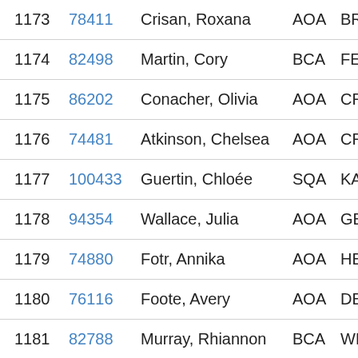| # | ID | Name | Code | Abbr |
| --- | --- | --- | --- | --- |
| 1173 | 78411 | Crisan, Roxana | AOA | BRIM |
| 1174 | 82498 | Martin, Cory | BCA | FER |
| 1175 | 86202 | Conacher, Olivia | AOA | CRA |
| 1176 | 74481 | Atkinson, Chelsea | AOA | CRA |
| 1177 | 100433 | Guertin, Chloée | SQA | KAN |
| 1178 | 94354 | Wallace, Julia | AOA | GEC |
| 1179 | 74880 | Fotr, Annika | AOA | HEIG |
| 1180 | 76116 | Foote, Avery | AOA | DEV |
| 1181 | 82788 | Murray, Rhiannon | BCA | WHV |